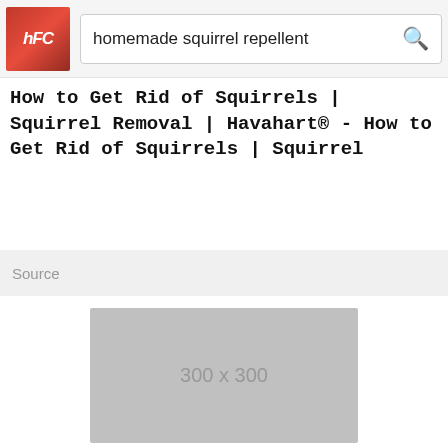homemade squirrel repellent
How to Get Rid of Squirrels | Squirrel Removal | Havahart® - How to Get Rid of Squirrels | Squirrel
Source
[Figure (other): Gray image placeholder showing dimensions 300 x 300]